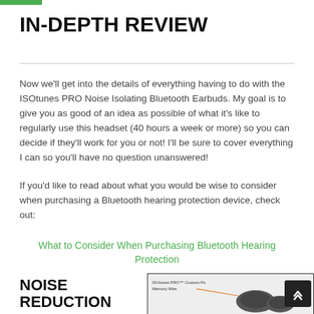IN-DEPTH REVIEW
Now we'll get into the details of everything having to do with the ISOtunes PRO Noise Isolating Bluetooth Earbuds. My goal is to give you as good of an idea as possible of what it's like to regularly use this headset (40 hours a week or more) so you can decide if they'll work for you or not! I'll be sure to cover everything I can so you'll have no question unanswered!
If you'd like to read about what you would be wise to consider when purchasing a Bluetooth hearing protection device, check out:
What to Consider When Purchasing Bluetooth Hearing Protection
NOISE REDUCTION
[Figure (photo): Product image of ISOtunes PRO Custom-Fit Memory Wire earbuds]